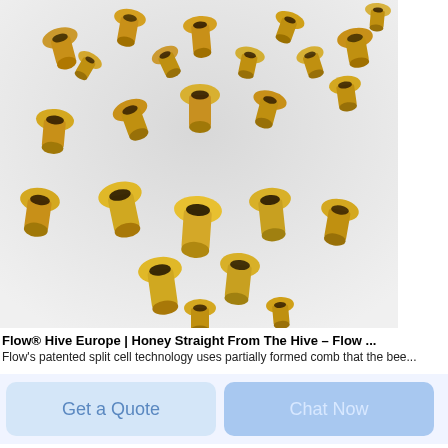[Figure (photo): Close-up photo of many small gold-colored brass rivets/eyelets scattered on a light grey/white surface. The metal pieces are hollow cylindrical tubes with flanged caps, typical of small hardware fasteners.]
Flow® Hive Europe | Honey Straight From The Hive – Flow ...
Flow's patented split cell technology uses partially formed comb that the bee...